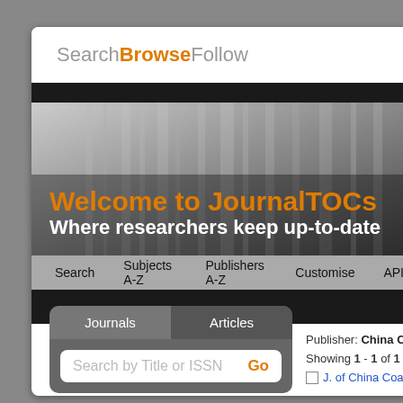SearchBrowseFollow
[Figure (screenshot): JournalTOCs website screenshot showing welcome banner with text 'Welcome to JournalTOCs – Where researchers keep up-to-date', navigation bar with Search, Subjects A-Z, Publishers A-Z, Customise, API tabs, a Journals/Articles search tab panel, and Publisher listing for China Coal Society showing 1-1 of 1 Journal.]
Search  Subjects A-Z  Publishers A-Z  Customise  API
HOME > Browse by Publisher
Journals   Articles
Search by Title or ISSN   Go
Publisher: China Coal So
Showing 1 - 1 of 1 Journ
J. of China Coal So